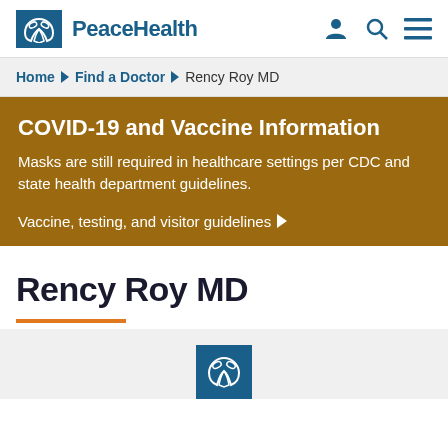PeaceHealth
Home ▶ Find a Doctor ▶ Rency Roy MD
COVID-19 and Vaccine Information
Masks are still required in healthcare settings per CDC and state health department guidelines.
Vaccine, testing, and visitor guidelines ▶
Rency Roy MD
[Figure (logo): PeaceHealth dove logo placeholder in blue box]